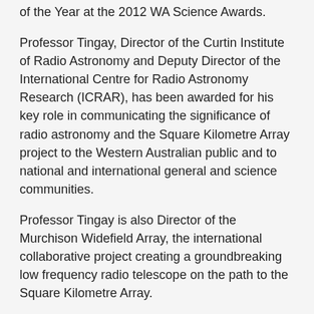of the Year at the 2012 WA Science Awards.
Professor Tingay, Director of the Curtin Institute of Radio Astronomy and Deputy Director of the International Centre for Radio Astronomy Research (ICRAR), has been awarded for his key role in communicating the significance of radio astronomy and the Square Kilometre Array project to the Western Australian public and to national and international general and science communities.
Professor Tingay is also Director of the Murchison Widefield Array, the international collaborative project creating a groundbreaking low frequency radio telescope on the path to the Square Kilometre Array.
He said bringing the $50m MWA to completion in WA was a major achievement, ready to embark on its exploration of the Universe in early 2013.
The Murchison Widefield Array is the only low frequency